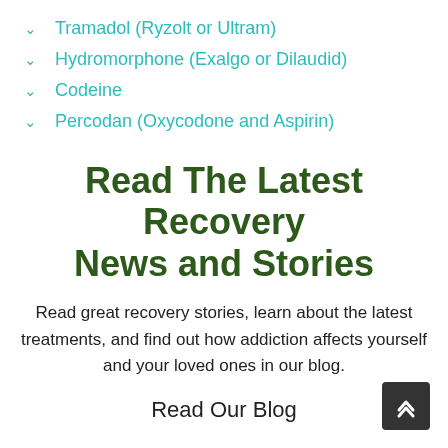Tramadol (Ryzolt or Ultram)
Hydromorphone (Exalgo or Dilaudid)
Codeine
Percodan (Oxycodone and Aspirin)
Read The Latest Recovery News and Stories
Read great recovery stories, learn about the latest treatments, and find out how addiction affects yourself and your loved ones in our blog.
Read Our Blog